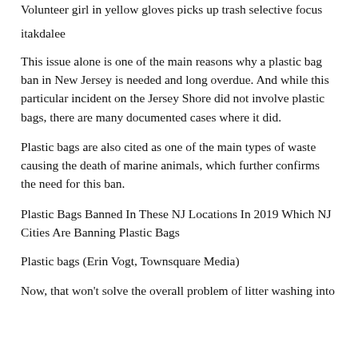Volunteer girl in yellow gloves picks up trash selective focus
itakdalee
This issue alone is one of the main reasons why a plastic bag ban in New Jersey is needed and long overdue. And while this particular incident on the Jersey Shore did not involve plastic bags, there are many documented cases where it did.
Plastic bags are also cited as one of the main types of waste causing the death of marine animals, which further confirms the need for this ban.
Plastic Bags Banned In These NJ Locations In 2019 Which NJ Cities Are Banning Plastic Bags
Plastic bags (Erin Vogt, Townsquare Media)
Now, that won't solve the overall problem of litter washing into